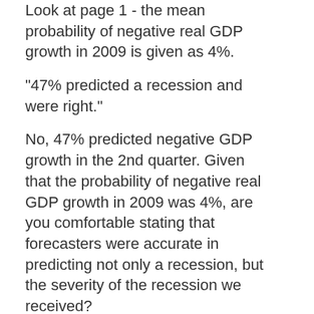Look at page 1 - the mean probability of negative real GDP growth in 2009 is given as 4%.
"47% predicted a recession and were right."
No, 47% predicted negative GDP growth in the 2nd quarter. Given that the probability of negative real GDP growth in 2009 was 4%, are you comfortable stating that forecasters were accurate in predicting not only a recession, but the severity of the recession we received?
Posted by: Mike Moffatt | August 03, 2010 at 06:17